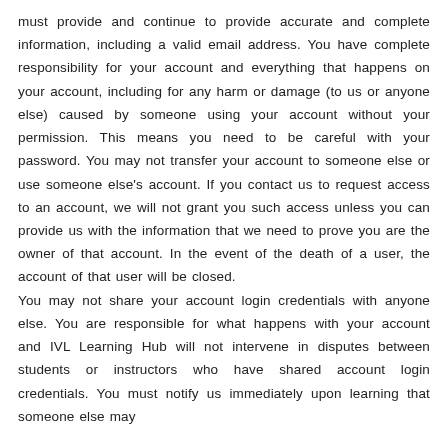must provide and continue to provide accurate and complete information, including a valid email address. You have complete responsibility for your account and everything that happens on your account, including for any harm or damage (to us or anyone else) caused by someone using your account without your permission. This means you need to be careful with your password. You may not transfer your account to someone else or use someone else's account. If you contact us to request access to an account, we will not grant you such access unless you can provide us with the information that we need to prove you are the owner of that account. In the event of the death of a user, the account of that user will be closed.
You may not share your account login credentials with anyone else. You are responsible for what happens with your account and IVL Learning Hub will not intervene in disputes between students or instructors who have shared account login credentials. You must notify us immediately upon learning that someone else may